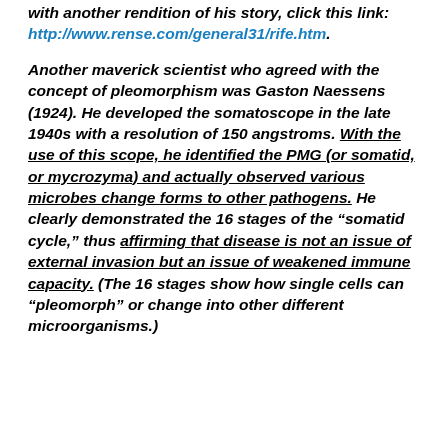with another rendition of his story, click this link: http://www.rense.com/general31/rife.htm.
Another maverick scientist who agreed with the concept of pleomorphism was Gaston Naessens (1924). He developed the somatoscope in the late 1940s with a resolution of 150 angstroms. With the use of this scope, he identified the PMG (or somatid, or mycrozyma) and actually observed various microbes change forms to other pathogens. He clearly demonstrated the 16 stages of the “somatid cycle,” thus affirming that disease is not an issue of external invasion but an issue of weakened immune capacity. (The 16 stages show how single cells can “pleomorph” or change into other different microorganisms.)